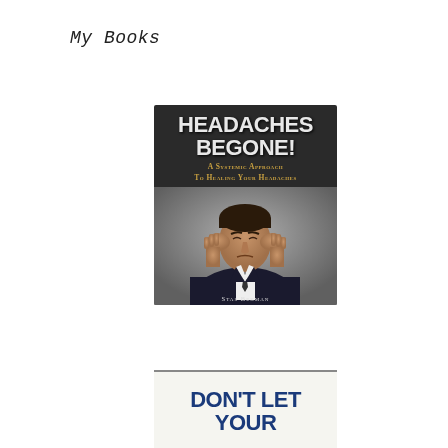My Books
[Figure (illustration): Book cover for 'Headaches Begone! A Systemic Approach To Healing Your Headaches' by Stas Bekman. Dark background with bold white title text, gold subtitle text, and a photo of a man in a suit holding his head in pain.]
[Figure (illustration): Partial book cover showing 'DON'T LET YOUR' in bold blue text on a light background, partially cut off at bottom of page.]